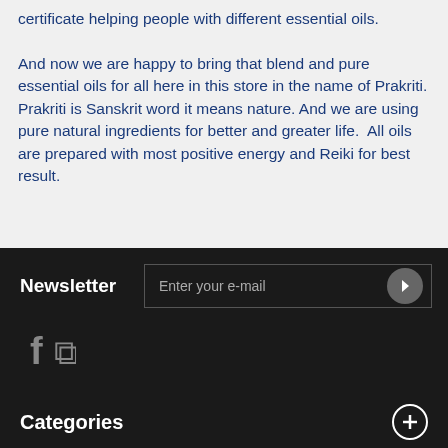certificate helping people with different essential oils. And now we are happy to bring that blend and pure essential oils for all here in this store in the name of Prakriti. Prakriti is Sanskrit word it means nature. And we are using pure natural ingredients for better and greater life.  All oils are prepared with most positive energy and Reiki for best result.
Newsletter
Enter your e-mail
[Figure (infographic): Social media icons: Facebook (f) and RSS feed icon on dark background]
Categories